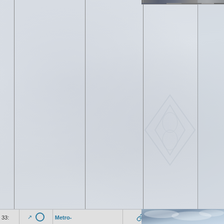| # | icon | Metro-... | link | Residential ... |
| --- | --- | --- | --- | --- |
| 33: | ↗ ○ | Metro-... | 🔗 | Residential ... |
[Figure (photo): Partial photo visible at top right corner of table, dark tones]
[Figure (photo): Partial photo visible at bottom right of page, blue-gray sky tones]